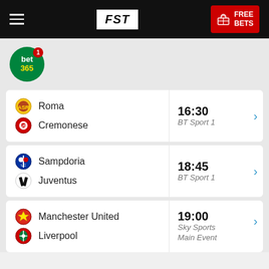FST | FREE BETS
[Figure (logo): bet365 circular green logo with notification badge]
Roma vs Cremonese — 16:30, BT Sport 1
Sampdoria vs Juventus — 18:45, BT Sport 1
Manchester United vs Liverpool — 19:00, Sky Sports Main Event